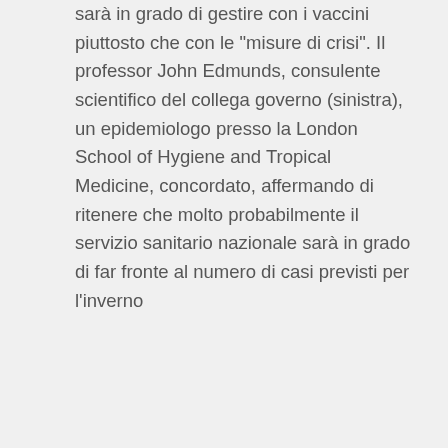sarà in grado di gestire con i vaccini piuttosto che con le "misure di crisi". Il professor John Edmunds, consulente scientifico del collega governo (sinistra), un epidemiologo presso la London School of Hygiene and Tropical Medicine, concordato, affermando di ritenere che molto probabilmente il servizio sanitario nazionale sarà in grado di far fronte al numero di casi previsti per l'inverno